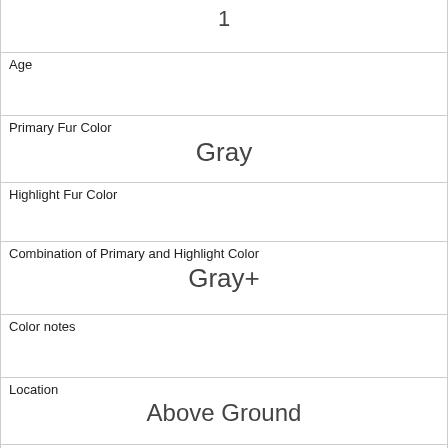| (truncated top row) | 1 |
| Age |  |
| Primary Fur Color | Gray |
| Highlight Fur Color |  |
| Combination of Primary and Highlight Color | Gray+ |
| Color notes |  |
| Location | Above Ground |
| Above Ground Sighter Measurement | 8 |
| Specific Location |  |
| Running | 0 |
| Chasing |  |